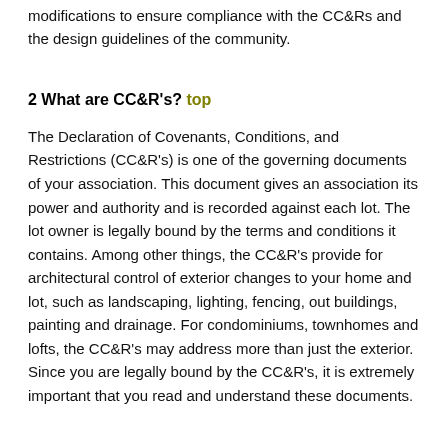modifications to ensure compliance with the CC&Rs and the design guidelines of the community.
2 What are CC&R's? top
The Declaration of Covenants, Conditions, and Restrictions (CC&R's) is one of the governing documents of your association. This document gives an association its power and authority and is recorded against each lot. The lot owner is legally bound by the terms and conditions it contains. Among other things, the CC&R's provide for architectural control of exterior changes to your home and lot, such as landscaping, lighting, fencing, out buildings, painting and drainage. For condominiums, townhomes and lofts, the CC&R's may address more than just the exterior. Since you are legally bound by the CC&R's, it is extremely important that you read and understand these documents.